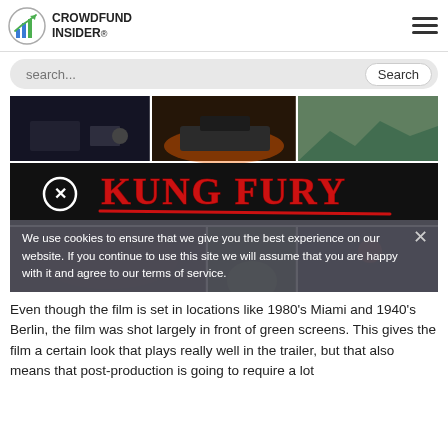CROWDFUND INSIDER
[Figure (screenshot): Search bar with placeholder text 'search...' and a Search button]
[Figure (photo): Kung Fury movie collage with multiple action scenes and the Kung Fury logo in red graffiti lettering across the center]
We use cookies to ensure that we give you the best experience on our website. If you continue to use this site we will assume that you are happy with it and agree to our terms of service.
Even though the film is set in locations like 1980's Miami and 1940's Berlin, the film was shot largely in front of green screens. This gives the film a certain look that plays really well in the trailer, but that also means that post-production is going to require a lot